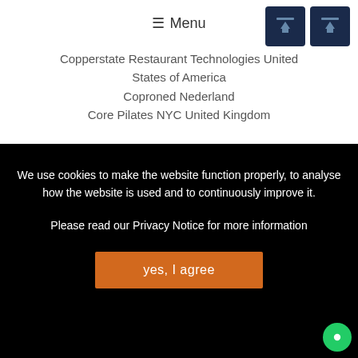≡ Menu
Copperstate Restaurant Technologies United States of America
Coproned Nederland
Core Pilates NYC United Kingdom
We use cookies to make the website function properly, to analyse how the website is used and to continuously improve it.
Please read our Privacy Notice for more information
yes, I agree